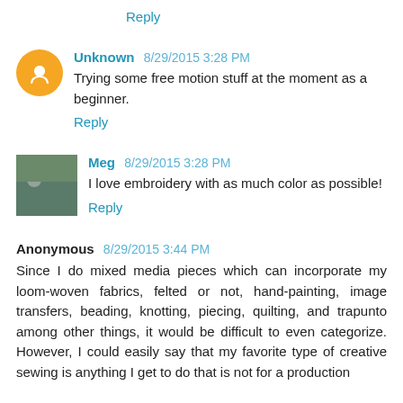Reply
Unknown 8/29/2015 3:28 PM
Trying some free motion stuff at the moment as a beginner.
Reply
Meg 8/29/2015 3:28 PM
I love embroidery with as much color as possible!
Reply
Anonymous 8/29/2015 3:44 PM
Since I do mixed media pieces which can incorporate my loom-woven fabrics, felted or not, hand-painting, image transfers, beading, knotting, piecing, quilting, and trapunto among other things, it would be difficult to even categorize. However, I could easily say that my favorite type of creative sewing is anything I get to do that is not for a production